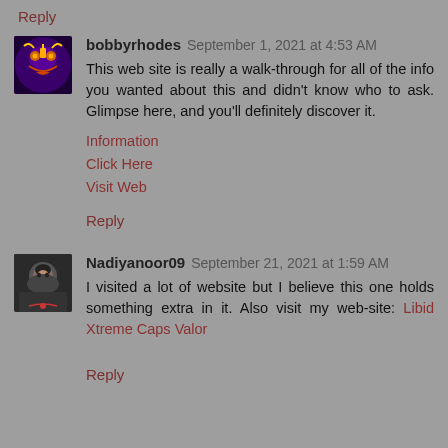Reply
bobbyrhodes  September 1, 2021 at 4:53 AM
This web site is really a walk-through for all of the info you wanted about this and didn't know who to ask. Glimpse here, and you'll definitely discover it.
Information
Click Here
Visit Web
Reply
Nadiyanoor09  September 21, 2021 at 1:59 AM
I visited a lot of website but I believe this one holds something extra in it. Also visit my web-site: Libid Xtreme Caps Valor
Reply